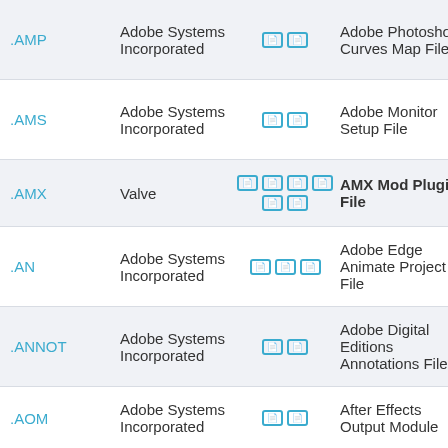| Extension | Developer | Icon | File Type | Program |
| --- | --- | --- | --- | --- |
| .AMP | Adobe Systems Incorporated | [icon] | Adobe Photoshop Curves Map File | Adobe Pho... CC |
| .AMS | Adobe Systems Incorporated | [icon] | Adobe Monitor Setup File | Adobe Pho... CC |
| .AMX | Valve | [icon] | AMX Mod Plugin File | Adobe Effe... |
| .AN | Adobe Systems Incorporated | [icon] | Adobe Edge Animate Project File | Adobe Ani... 201... |
| .ANNOT | Adobe Systems Incorporated | [icon] | Adobe Digital Editions Annotations File | Adobe Edi... |
| .AOM | Adobe Systems Incorporated | [icon] | After Effects Output Module | Adobe Effe... |